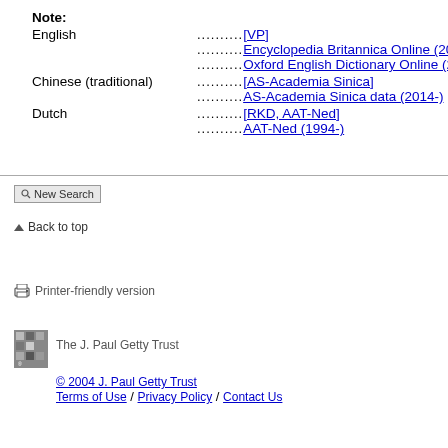Note:
English .......... [VP]
.......... Encyclopedia Britannica Online (2002-)
.......... Oxford English Dictionary Online (2002-)
Chinese (traditional).......... [AS-Academia Sinica]
.......... AS-Academia Sinica data (2014-)
Dutch .......... [RKD, AAT-Ned]
.......... AAT-Ned (1994-)
New Search
Back to top
Printer-friendly version
[Figure (logo): J. Paul Getty Trust logo - grey pixelated square grid logo]
The J. Paul Getty Trust
© 2004 J. Paul Getty Trust
Terms of Use / Privacy Policy / Contact Us